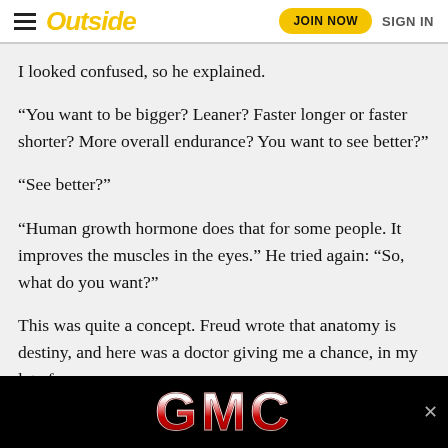Outside | JOIN NOW | SIGN IN
I looked confused, so he explained.
“You want to be bigger? Leaner? Faster longer or faster shorter? More overall endurance? You want to see better?”
“See better?”
“Human growth hormone does that for some people. It improves the muscles in the eyes.” He tried again: “So, what do you want?”
This was quite a concept. Freud wrote that anatomy is destiny, and here was a doctor giving me a chance, in my late for… …way,
[Figure (logo): GMC logo advertisement banner on black background with a close button]